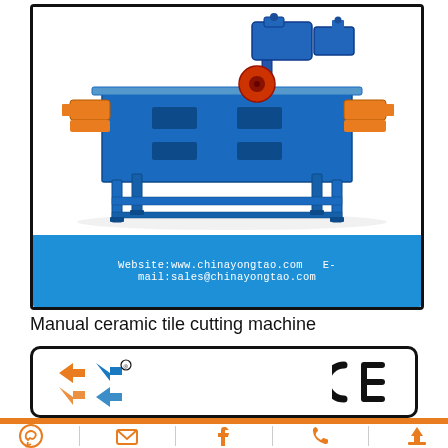[Figure (photo): Manual ceramic tile cutting machine — a large blue steel table-saw with orange side rails and a blue circular saw blade motor mounted on top. The machine sits on a blue steel frame with legs.]
Website:www.chinayongtao.com  E-mail:sales@chinayongtao.com
Manual ceramic tile cutting machine
[Figure (logo): Company logo (orange/blue diamond chevron arrows with registered trademark) and CE certification mark]